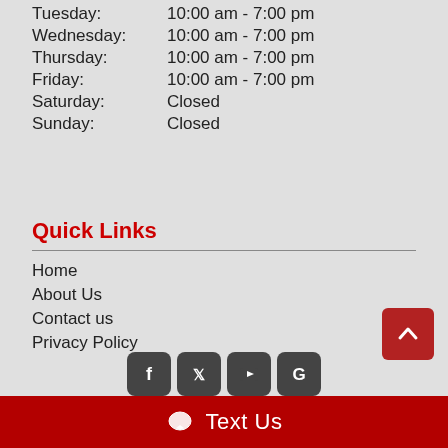Monday: 10:00 am - 7:00 pm
Tuesday: 10:00 am - 7:00 pm
Wednesday: 10:00 am - 7:00 pm
Thursday: 10:00 am - 7:00 pm
Friday: 10:00 am - 7:00 pm
Saturday: Closed
Sunday: Closed
Quick Links
Home
About Us
Contact us
Privacy Policy
[Figure (other): Scroll to top button with upward chevron arrow]
[Figure (other): Social media icons row: Facebook, Twitter, YouTube, Google]
Text Us